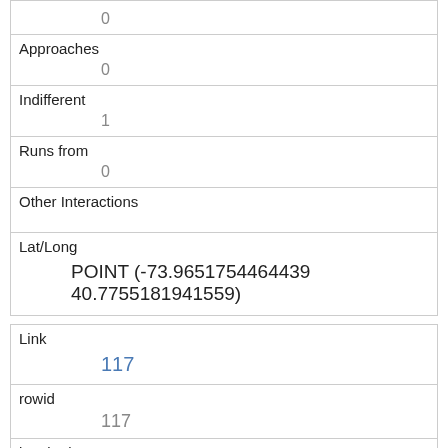|  | 0 |
| Approaches | 0 |
| Indifferent | 1 |
| Runs from | 0 |
| Other Interactions |  |
| Lat/Long | POINT (-73.9651754464439 40.7755181941559) |
| Link | 117 |
| rowid | 117 |
| longitude | -73.9607746337979 |
| latitude | 40.793958106938206 |